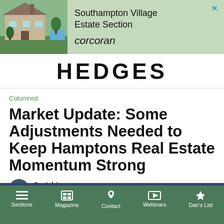[Figure (other): Advertisement banner for Southampton Village Estate Section by Corcoran, with a photo of a large estate home with pool, on a sage green background.]
HEDGES
Columnist
Market Update: Some Adjustments Needed to Keep Hamptons Real Estate Momentum Strong
By Adrianna Nava   0 comments   Posted on February 3, 2021
Sections  Magazine  Contact  Webinars  Dan's List